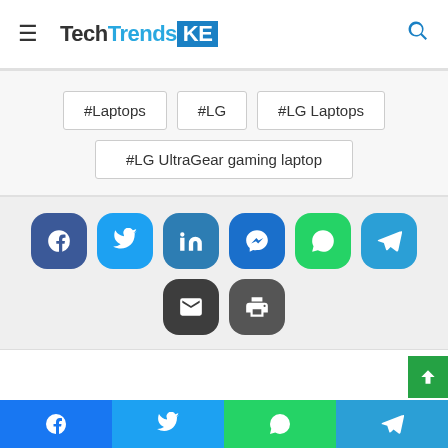TechTrendsKE
#Laptops
#LG
#LG Laptops
#LG UltraGear gaming laptop
[Figure (infographic): Social share buttons: Facebook, Twitter, LinkedIn, Messenger, WhatsApp, Telegram, Email, Print]
Facebook | Twitter | WhatsApp | Telegram bottom share bar